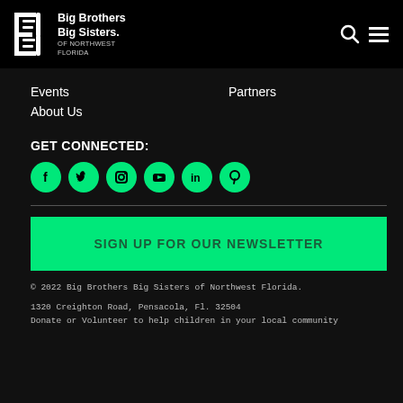[Figure (logo): Big Brothers Big Sisters of Northwest Florida logo with stylized B icon and text]
Events
Partners
About Us
GET CONNECTED:
[Figure (infographic): Social media icons: Facebook, Twitter, Instagram, YouTube, LinkedIn, Pinterest — all green circles]
SIGN UP FOR OUR NEWSLETTER
© 2022 Big Brothers Big Sisters of Northwest Florida.
1320 Creighton Road, Pensacola, Fl. 32504
Donate or Volunteer to help children in your local community